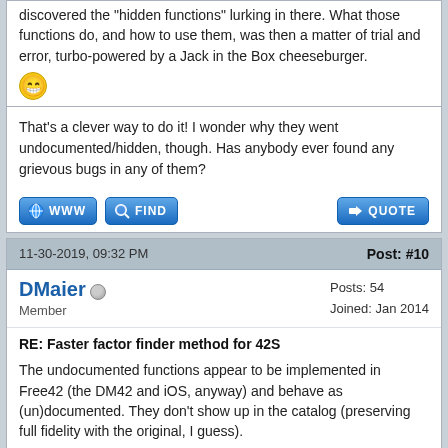discovered the "hidden functions" lurking in there. What those functions do, and how to use them, was then a matter of trial and error, turbo-powered by a Jack in the Box cheeseburger.
That's a clever way to do it! I wonder why they went undocumented/hidden, though. Has anybody ever found any grievous bugs in any of them?
11-30-2019, 09:32 PM
Post: #10
DMaier
Member
Posts: 54
Joined: Jan 2014
RE: Faster factor finder method for 42S
The undocumented functions appear to be implemented in Free42 (the DM42 and iOS, anyway) and behave as (un)documented. They don't show up in the catalog (preserving full fidelity with the original, I guess).
12-01-2019, 08:02 PM
Post: #11